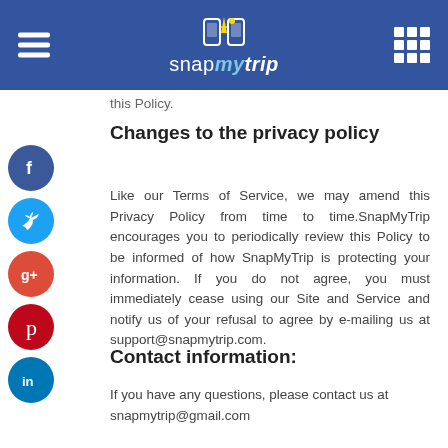snapmytrip
this Policy.
Changes to the privacy policy
Like our Terms of Service, we may amend this Privacy Policy from time to time.SnapMyTrip encourages you to periodically review this Policy to be informed of how SnapMyTrip is protecting your information. If you do not agree, you must immediately cease using our Site and Service and notify us of your refusal to agree by e-mailing us at support@snapmytrip.com.
Contact information:
If you have any questions, please contact us at snapmytrip@gmail.com